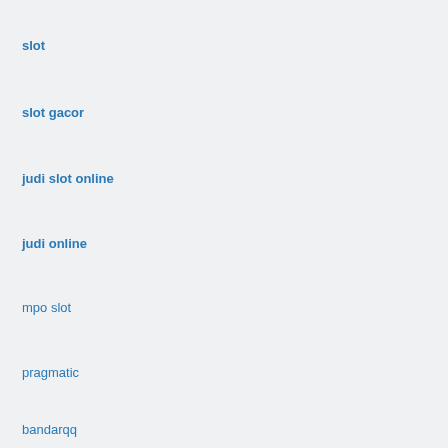slot
slot gacor
judi slot online
judi online
mpo slot
pragmatic
bandarqq